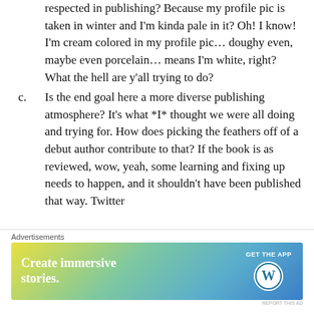respected in publishing? Because my profile pic is taken in winter and I'm kinda pale in it? Oh! I know! I'm cream colored in my profile pic… doughy even, maybe even porcelain… means I'm white, right? What the hell are y'all trying to do?
c. Is the end goal here a more diverse publishing atmosphere? It's what *I* thought we were all doing and trying for. How does picking the feathers off of a debut author contribute to that? If the book is as reviewed, wow, yeah, some learning and fixing up needs to happen, and it shouldn't have been published that way. Twitter
[Figure (other): WordPress advertisement banner: 'Create immersive stories. GET THE APP' with WordPress logo on a blue-green-yellow gradient background.]